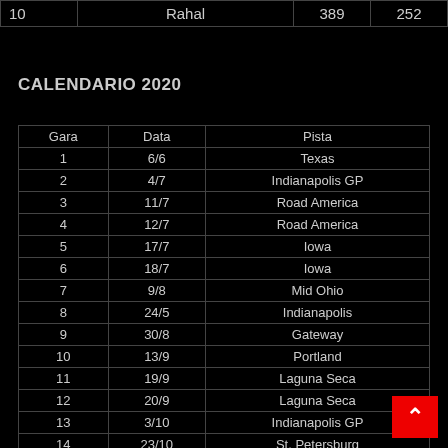| 10 |  | Rahal | 389 | 252 |
| --- | --- | --- | --- | --- |
CALENDARIO 2020
| Gara | Data | Pista |
| --- | --- | --- |
| 1 | 6/6 | Texas |
| 2 | 4/7 | Indianapolis GP |
| 3 | 11/7 | Road America |
| 4 | 12/7 | Road America |
| 5 | 17/7 | Iowa |
| 6 | 18/7 | Iowa |
| 7 | 9/8 | Mid Ohio |
| 8 | 24/5 | Indianapolis |
| 9 | 30/8 | Gateway |
| 10 | 13/9 | Portland |
| 11 | 19/9 | Laguna Seca |
| 12 | 20/9 | Laguna Seca |
| 13 | 3/10 | Indianapolis GP |
| 14 | 23/10 | St. Petersburg |